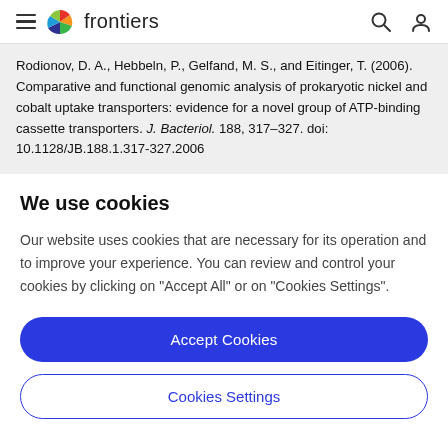frontiers
Rodionov, D. A., Hebbeln, P., Gelfand, M. S., and Eitinger, T. (2006). Comparative and functional genomic analysis of prokaryotic nickel and cobalt uptake transporters: evidence for a novel group of ATP-binding cassette transporters. J. Bacteriol. 188, 317–327. doi: 10.1128/JB.188.1.317-327.2006
We use cookies
Our website uses cookies that are necessary for its operation and to improve your experience. You can review and control your cookies by clicking on "Accept All" or on "Cookies Settings".
Accept Cookies
Cookies Settings